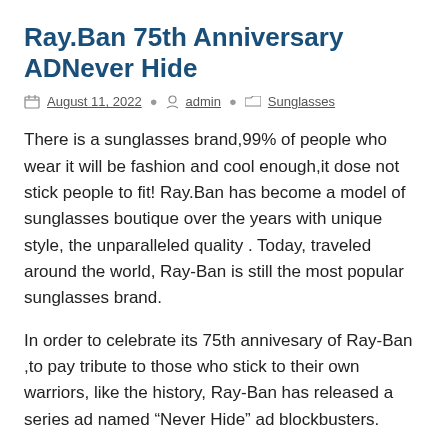Ray.Ban 75th Anniversary ADNever Hide
August 11, 2022  admin  Sunglasses
There is a sunglasses brand,99% of people who wear it will be fashion and cool enough,it dose not stick people to fit! Ray.Ban has become a model of sunglasses boutique over the years with unique style, the unparalleled quality . Today, traveled around the world, Ray-Ban is still the most popular sunglasses brand.
In order to celebrate its 75th annivesary of Ray-Ban ,to pay tribute to those who stick to their own warriors, like the history, Ray-Ban has released a series ad named “Never Hide” ad blockbusters.
Ray-Ban 75th anniversary “Never Hide” ad recalled classic memorable moments that once the bravers once wear Ray-Ban sunglasses: Gay hand in hand walk through the crowd,